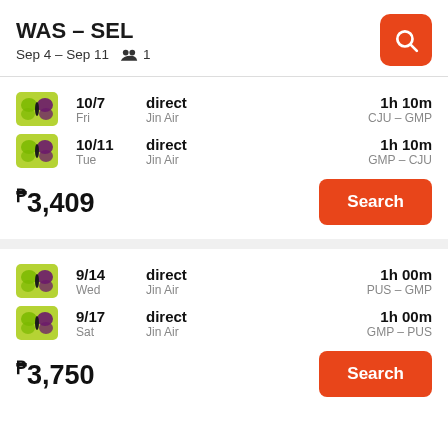WAS – SEL
Sep 4 – Sep 11  👥 1
10/7 Fri | direct | Jin Air | 1h 10m | CJU – GMP
10/11 Tue | direct | Jin Air | 1h 10m | GMP – CJU
₱3,409 | Search
9/14 Wed | direct | Jin Air | 1h 00m | PUS – GMP
9/17 Sat | direct | Jin Air | 1h 00m | GMP – PUS
₱3,750 | Search